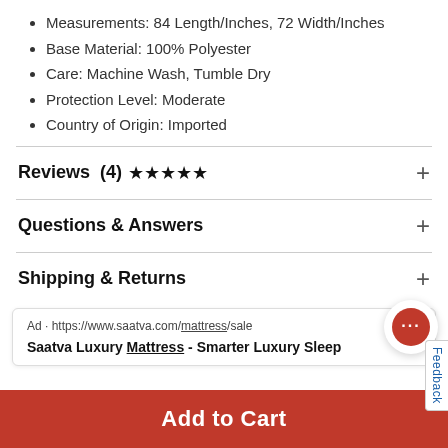Measurements: 84 Length/Inches, 72 Width/Inches
Base Material: 100% Polyester
Care: Machine Wash, Tumble Dry
Protection Level: Moderate
Country of Origin: Imported
Reviews  (4) ★★★★★
Questions & Answers
Shipping & Returns
Ad · https://www.saatva.com/mattress/sale
Saatva Luxury Mattress - Smarter Luxury Sleep
Add to Cart